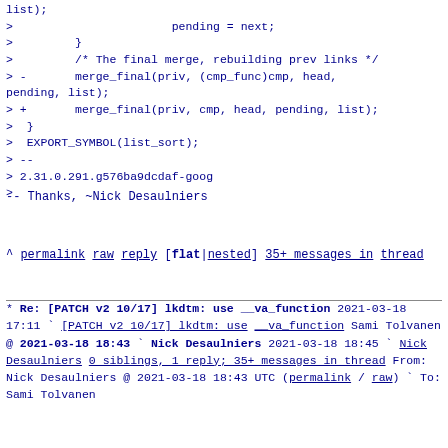> list);
>                         pending = next;
>         }
>         /* The final merge, rebuilding prev links */
> -       merge_final(priv, (cmp_func)cmp, head,
pending, list);
> +       merge_final(priv, cmp, head, pending, list);
>  }
>  EXPORT_SYMBOL(list_sort);
> --
> 2.31.0.291.g576ba9dcdaf-goog
>
--
Thanks,
~Nick Desaulniers
^ permalink raw reply   [flat|nested] 35+ messages in thread
* Re: [PATCH v2 10/17] lkdtm: use __va_function
  2021-03-18 17:11 ` [PATCH v2 10/17] lkdtm: use __va_function Sami Tolvanen
@ 2021-03-18 18:43   ` Nick Desaulniers
  2021-03-18 18:45     ` Nick Desaulniers
  0 siblings, 1 reply; 35+ messages in thread
From: Nick Desaulniers @ 2021-03-18 18:43 UTC
(permalink / raw)
` To: Sami Tolvanen